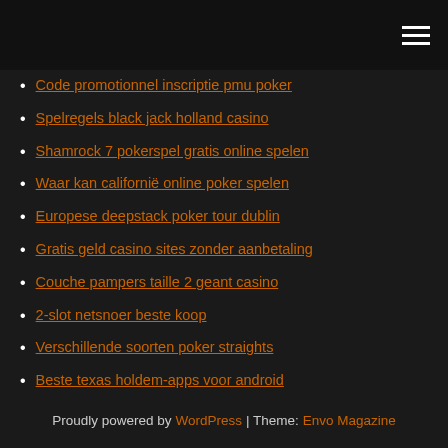[hamburger menu icon]
Code promotionnel inscriptie pmu poker
Spelregels black jack holland casino
Shamrock 7 pokerspel gratis online spelen
Waar kan californië online poker spelen
Europese deepstack poker tour dublin
Gratis geld casino sites zonder aanbetaling
Couche pampers taille 2 geant casino
2-slot netsnoer beste koop
Verschillende soorten poker straights
Beste texas holdem-apps voor android
Wat is een casino go go danseres
Proudly powered by WordPress | Theme: Envo Magazine